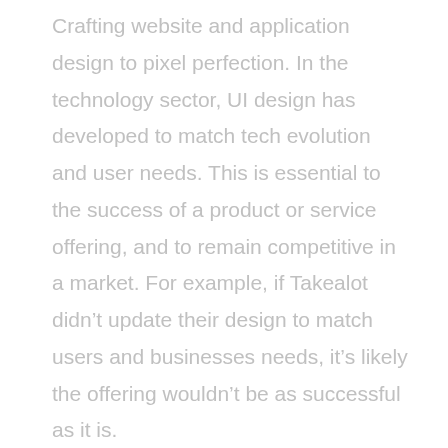Crafting website and application design to pixel perfection. In the technology sector, UI design has developed to match tech evolution and user needs. This is essential to the success of a product or service offering, and to remain competitive in a market. For example, if Takealot didn't update their design to match users and businesses needs, it's likely the offering wouldn't be as successful as it is.
As an exception Amazon, the world's e-commerce giant has an outdated User Interface by current UI standards. This doesn't affect their success, as the service and